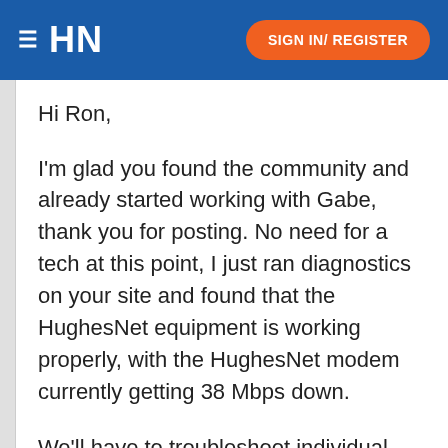HN  SIGN IN/ REGISTER
Hi Ron,
I'm glad you found the community and already started working with Gabe, thank you for posting. No need for a tech at this point, I just ran diagnostics on your site and found that the HughesNet equipment is working properly, with the HughesNet modem currently getting 38 Mbps down.
We'll have to troubleshoot individual devices to pinpoint trouble spots.